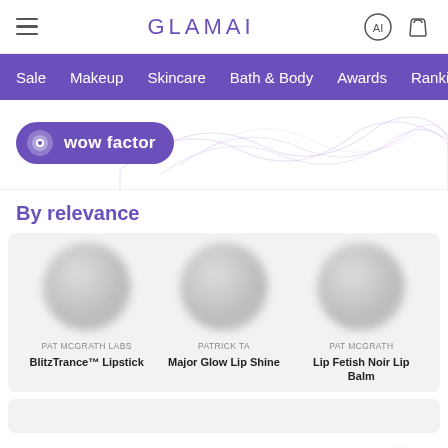GLAMAI
Sale  Makeup  Skincare  Bath & Body  Awards  Rankings
[Figure (screenshot): Wow factor badge with purple pill shape, eye icon, and decorative wave graphic on white background]
By relevance
[Figure (photo): Blurred product image placeholder for PAT McGRATH LABS BlitzTrance Lipstick]
PAT McGRATH LABS
BlitzTrance™ Lipstick
[Figure (photo): Blurred product image placeholder for PATRICK TA Major Glow Lip Shine]
PATRICK TA
Major Glow Lip Shine
[Figure (photo): Blurred product image placeholder for PAT McGRATH Lip Fetish Noir Lip Balm]
PAT McGRATH
Lip Fetish Noir Lip Balm